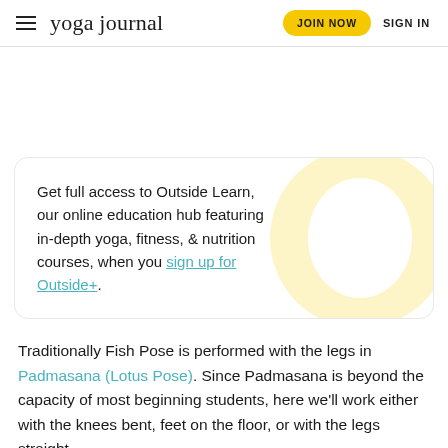yoga journal  JOIN NOW  SIGN IN
Get full access to Outside Learn, our online education hub featuring in-depth yoga, fitness, & nutrition courses, when you sign up for Outside+.
Traditionally Fish Pose is performed with the legs in Padmasana (Lotus Pose). Since Padmasana is beyond the capacity of most beginning students, here we'll work either with the knees bent, feet on the floor, or with the legs straight.